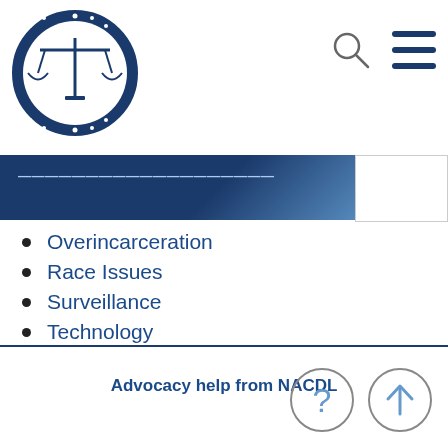NACDL - National Association of Criminal Defense Lawyers
Overincarceration
Race Issues
Surveillance
Technology
Advocacy help from NACDL
[Figure (illustration): Help (question mark) and back-to-top (arrow up) circular icon buttons]